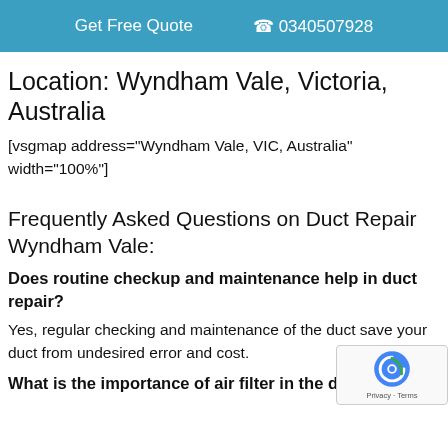Get Free Quote  0340507928
Location: Wyndham Vale, Victoria, Australia
[vsgmap address="Wyndham Vale, VIC, Australia" width="100%"]
Frequently Asked Questions on Duct Repair Wyndham Vale:
Does routine checkup and maintenance help in duct repair?
Yes, regular checking and maintenance of the duct save your duct from undesired error and cost.
What is the importance of air filter in the duct?